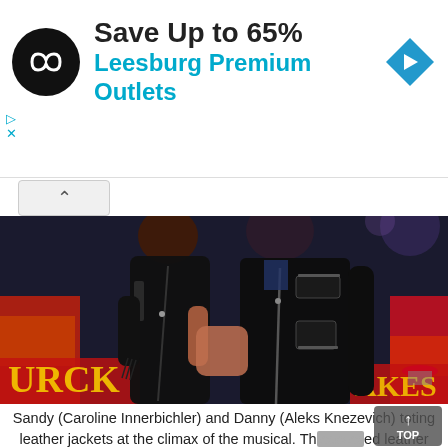[Figure (screenshot): Advertisement banner for Leesburg Premium Outlets showing a circular black logo with infinity-like symbol, text 'Save Up to 65%' in bold black and 'Leesburg Premium Outlets' in blue, with a blue navigation arrow diamond icon on the right. Small play and close controls on the left. White background.]
[Figure (photo): Photograph of two performers in black leather jackets on a theatrical stage. The woman (Sandy, played by Caroline Innerbichler) leans against the man (Danny, played by Aleks Knezevich) with a red diner-style set visible in the background including partial text 'URCK' and 'AKES'.]
Sandy (Caroline Innerbichler) and Danny (Aleks Knezevich) toting leather jackets at the climax of the musical. Th...ed leather jacket dates back to 1928, but was popularized by